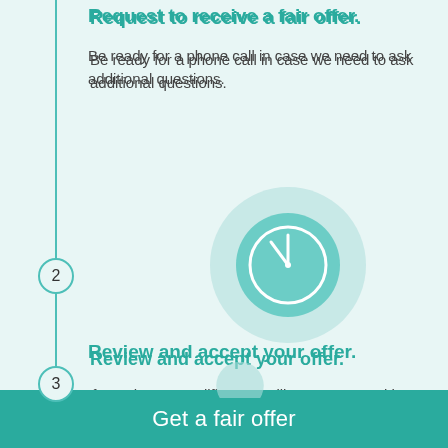Request to receive a fair offer.
Be ready for a phone call in case we need to ask additional questions.
[Figure (illustration): A teal circular icon with a clock symbol inside, representing a time-related step in the process.]
Review and accept your offer.
If your house qualifies, we will present you with a fair cash offer or other seller financing options within 24 hours.
Get a fair offer